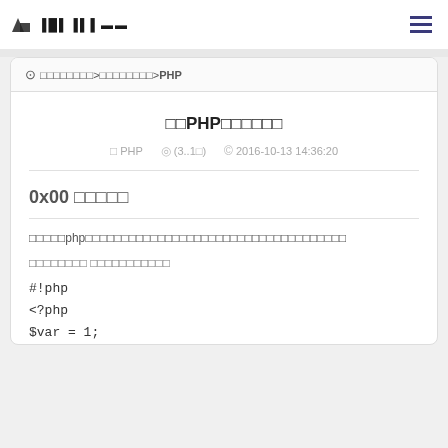logo | hamburger menu
⊙□□□□□□□□>□□□□□□□□>PHP
□□PHP□□□□□□
□PHP  ◎(3..1□)  ©2016-10-13 14:36:20
0x00 □□□□□
□□□□□php□□□□□□□□□□□□□□□□□□□□□□□□□□□□□□□□□□□□
□□□□□□□□ □□□□□□□□□□□
#!php
<?php
$var = 1;